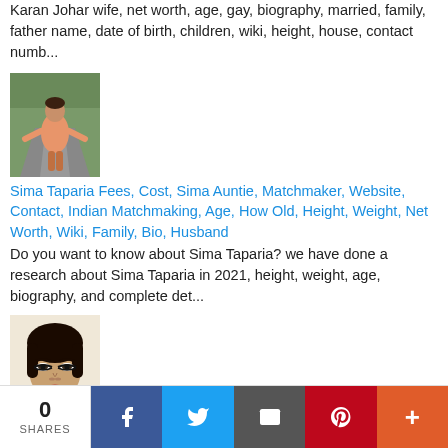Karan Johar wife, net worth, age, gay, biography, married, family, father name, date of birth, children, wiki, height, house, contact numb...
[Figure (photo): Photo of Sima Taparia in a pink/orange outfit standing on a road]
Sima Taparia Fees, Cost, Sima Auntie, Matchmaker, Website, Contact, Indian Matchmaking, Age, How Old, Height, Weight, Net Worth, Wiki, Family, Bio, Husband
Do you want to know about Sima Taparia? we have done a research about Sima Taparia in 2021, height, weight, age, biography, and complete det...
[Figure (photo): Photo of Reena Roy, a Bollywood actress, with dramatic eye makeup]
Reena Roy age, sanam khan, daughter, husband name, family, marriage, date of birth, wedding, mother, shatrughan sinha, sonakshi, mohsin khan, sanam khan, movies, photo, hot, now, actress, young, video, images, son, nagin, bikini, jannat, biography,
0 SHARES